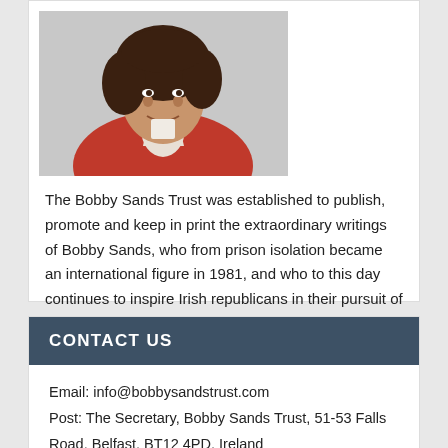[Figure (photo): Photograph of a person with curly dark hair wearing a red top, smiling, cropped to show face and upper body]
The Bobby Sands Trust was established to publish, promote and keep in print the extraordinary writings of Bobby Sands, who from prison isolation became an international figure in 1981, and who to this day continues to inspire Irish republicans in their pursuit of freedom from British rule.
CONTACT US
Email: info@bobbysandstrust.com
Post: The Secretary, Bobby Sands Trust, 51-53 Falls Road, Belfast, BT12 4PD, Ireland